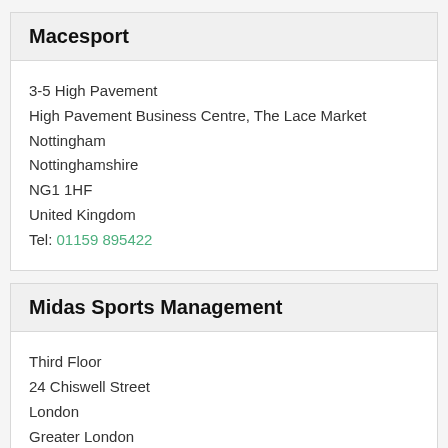Macesport
3-5 High Pavement
High Pavement Business Centre, The Lace Market
Nottingham
Nottinghamshire
NG1 1HF
United Kingdom

Tel: 01159 895422
Midas Sports Management
Third Floor
24 Chiswell Street
London
Greater London